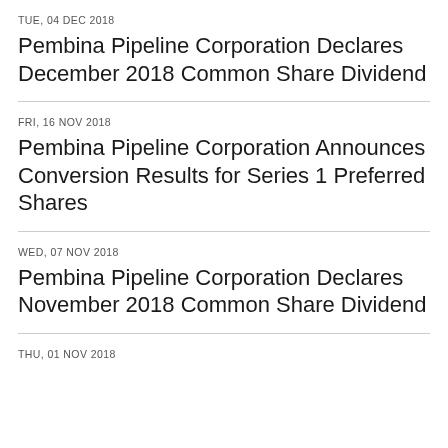TUE, 04 DEC 2018
Pembina Pipeline Corporation Declares December 2018 Common Share Dividend
FRI, 16 NOV 2018
Pembina Pipeline Corporation Announces Conversion Results for Series 1 Preferred Shares
WED, 07 NOV 2018
Pembina Pipeline Corporation Declares November 2018 Common Share Dividend
THU, 01 NOV 2018